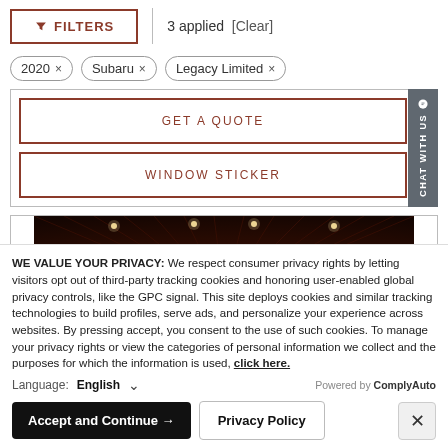[Figure (screenshot): Filter button with funnel icon showing FILTERS label and '3 applied [Clear]' text, followed by filter tags: 2020, Subaru, Legacy Limited]
3 applied [Clear]
2020 × Subaru × Legacy Limited ×
GET A QUOTE
WINDOW STICKER
[Figure (photo): Interior ceiling photo of a dark wood-paneled room with recessed lighting]
WE VALUE YOUR PRIVACY: We respect consumer privacy rights by letting visitors opt out of third-party tracking cookies and honoring user-enabled global privacy controls, like the GPC signal. This site deploys cookies and similar tracking technologies to build profiles, serve ads, and personalize your experience across websites. By pressing accept, you consent to the use of such cookies. To manage your privacy rights or view the categories of personal information we collect and the purposes for which the information is used, click here.
Language: English
Accept and Continue → Privacy Policy ×